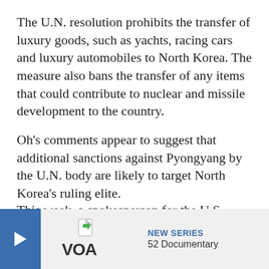The U.N. resolution prohibits the transfer of luxury goods, such as yachts, racing cars and luxury automobiles to North Korea. The measure also bans the transfer of any items that could contribute to nuclear and missile development to the country.
Oh's comments appear to suggest that additional sanctions against Pyongyang by the U.N. body are likely to target North Korea's ruling elite.
This week, a spokesperson for the U.S. State Department said sanctions against Pyongyang “seek to impose consequences on the DPRK regime, not on the North Korean people.”
The South Kor… Jinping’s recen… actions on the…
[Figure (logo): VOA logo with NEW SERIES label and 52 Documentary text in a banner overlay at the bottom of the page]